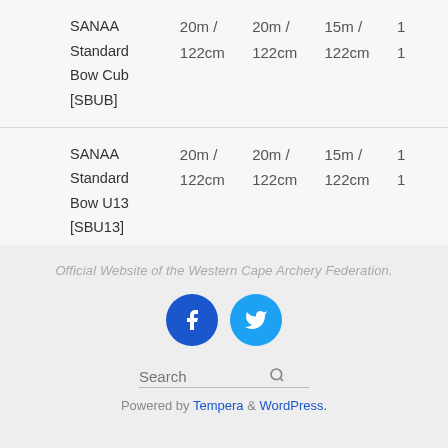| Category | Col1 | Col2 | Col3 | Col4 |
| --- | --- | --- | --- | --- |
| SANAA Standard Bow Cub [SBUB] | 20m / 122cm | 20m / 122cm | 15m / 122cm | 15… |
| SANAA Standard Bow U13 [SBU13] | 20m / 122cm | 20m / 122cm | 15m / 122cm | 15… |
Official Website of the Western Cape Archery Federation.
Powered by Tempera & WordPress.